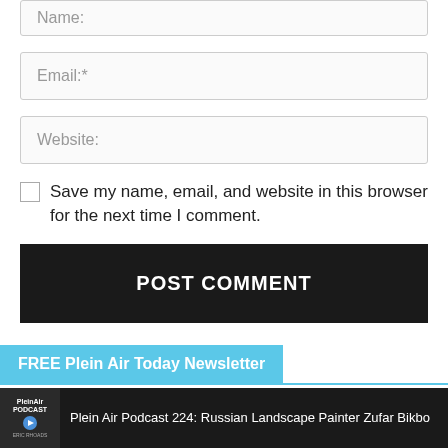Name:
Email:*
Website:
Save my name, email, and website in this browser for the next time I comment.
POST COMMENT
FREE Plein Air Today Newsletter
Subscribe to Plein Air Today, from the publishers of PleinAir Magazine
Plein Air Podcast 224: Russian Landscape Painter Zufar Bikbo